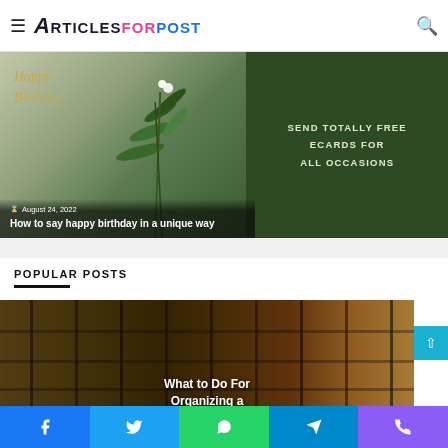ArticlesForPost — navigation header with hamburger menu and search icon
[Figure (photo): Hero banner image split into two sections: left shows a birthday card with plant/foliage and cursive 'Happy Birthday' text in gold, right shows dark green background with bold white text 'SEND TOTALLY FREE ECARDS FOR ALL OCCASIONS']
August 24, 2022
How to say happy birthday in a unique way
POPULAR POSTS
[Figure (photo): Warehouse interior with tall storage racks filled with boxes and goods, orange metal shelving, text overlay reading 'What to Do For Organizing a']